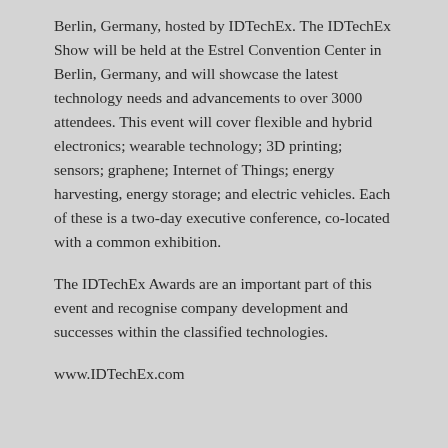Berlin, Germany, hosted by IDTechEx. The IDTechEx Show will be held at the Estrel Convention Center in Berlin, Germany, and will showcase the latest technology needs and advancements to over 3000 attendees. This event will cover flexible and hybrid electronics; wearable technology; 3D printing; sensors; graphene; Internet of Things; energy harvesting, energy storage; and electric vehicles. Each of these is a two-day executive conference, co-located with a common exhibition.
The IDTechEx Awards are an important part of this event and recognise company development and successes within the classified technologies.
www.IDTechEx.com